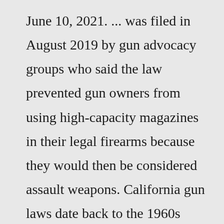June 10, 2021. ... was filed in August 2019 by gun advocacy groups who said the law prevented gun owners from using high-capacity magazines in their legal firearms because they would then be considered assault weapons. California gun laws date back to the 1960s under then-Governor Ronald Reagan, who signed a bipartisan bill ...A federal appeals court said Thursday, Feb. 25, 2021, that it will reconsider a three-